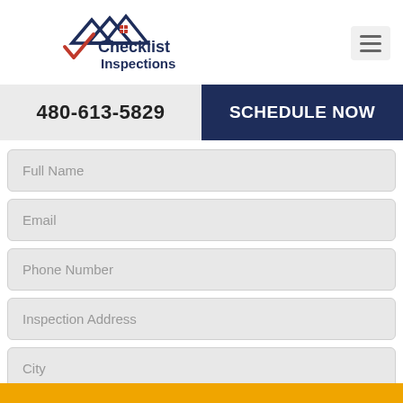[Figure (logo): Checklist Inspections logo with house rooftop graphic and red checkmark]
480-613-5829
SCHEDULE NOW
Full Name
Email
Phone Number
Inspection Address
City
Service